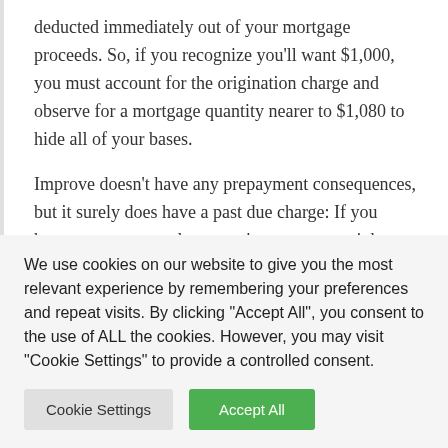deducted immediately out of your mortgage proceeds. So, if you recognize you'll want $1,000, you must account for the origination charge and observe for a mortgage quantity nearer to $1,080 to hide all of your bases.
Improve doesn't have any prepayment consequences, but it surely does have a past due charge: If you happen to pay past due or omit a cost, you might want to be hit with a $10 past due charge in case your cost isn't won in complete inside of 15 calendar days of the due date.
We use cookies on our website to give you the most relevant experience by remembering your preferences and repeat visits. By clicking "Accept All", you consent to the use of ALL the cookies. However, you may visit "Cookie Settings" to provide a controlled consent.